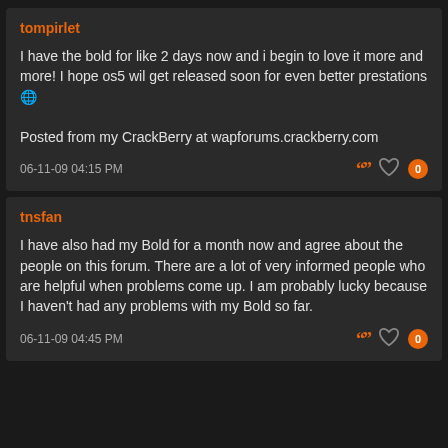tompirlet
I have the bold for like 2 days now and i begin to love it more and more! I hope os5 wil get released soon for even better prestations

Posted from my CrackBerry at wapforums.crackberry.com
06-11-09 04:15 PM
tnsfan
I have also had my Bold for a month now and agree about the people on this forum. There are a lot of very informed people who are helpful when problems come up. I am probably lucky because I haven't had any problems with my Bold so far.
06-11-09 04:45 PM